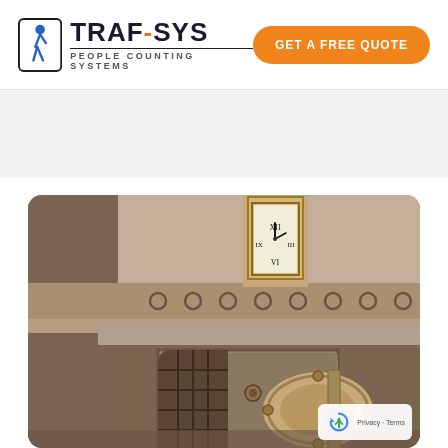[Figure (logo): TRAF-SYS People Counting Systems logo with walking person icon in blue and black]
GET A FREE QUOTE
[Figure (photo): Interior of a bank or historic building showing a large ornate vault door and a decorative wall clock above ornamental molding]